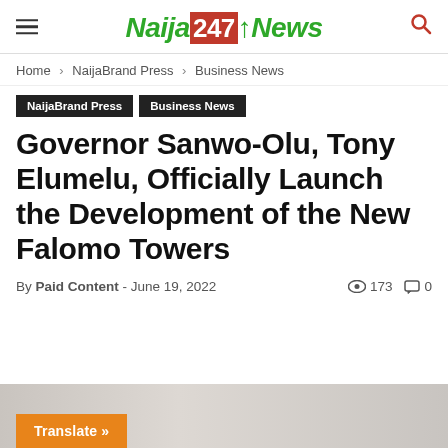Naija247News
Home › NaijaBrand Press › Business News
NaijaBrand Press   Business News
Governor Sanwo-Olu, Tony Elumelu, Officially Launch the Development of the New Falomo Towers
By Paid Content - June 19, 2022   👁 173   💬 0
[Figure (photo): Image area with a Translate button in orange at the bottom left]